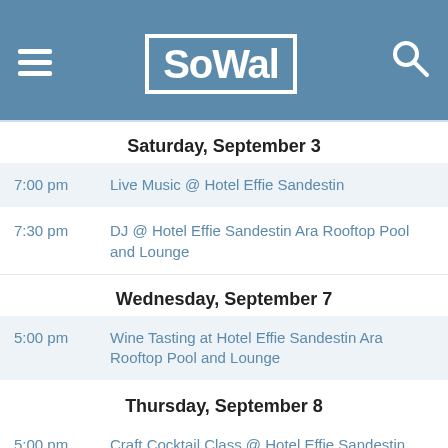SoWal
Saturday, September 3
7:00 pm — Live Music @ Hotel Effie Sandestin
7:30 pm — DJ @ Hotel Effie Sandestin Ara Rooftop Pool and Lounge
Wednesday, September 7
5:00 pm — Wine Tasting at Hotel Effie Sandestin Ara Rooftop Pool and Lounge
Thursday, September 8
5:00 pm — Craft Cocktail Class @ Hotel Effie Sandestin